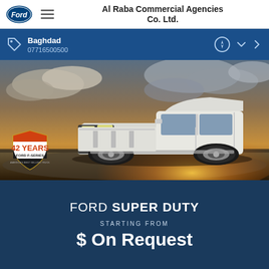Al Raba Commercial Agencies Co. Ltd.
Baghdad
07716500500
[Figure (photo): Ford F-Series Super Duty white pickup truck photographed at dusk on a road with dramatic sky. Badge in lower left reads '42 YEARS FORD F-SERIES AMERICA'S BEST SELLING TRUCK'.]
FORD SUPER DUTY
STARTING FROM
$ On Request